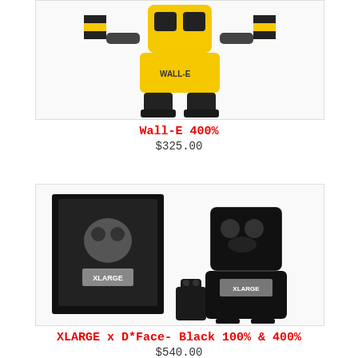[Figure (photo): Wall-E Bearbrick 400% figure in yellow/black with striped shoulders, shown from the front against white background]
Wall-E 400%
$325.00
[Figure (photo): XLARGE x D*Face Black 100% & 400% Bearbrick set showing the box packaging, large black figure with gorilla face design and XLARGE logo, plus a small 100% figure]
XLARGE x D*Face- Black 100% & 400%
$540.00